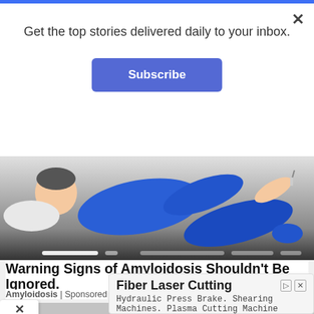Get the top stories delivered daily to your inbox.
Subscribe
[Figure (illustration): Medical illustration of a person in blue clothing lying down, with a needle/syringe near their foot, on a dark/gradient background with carousel dots at the bottom.]
Warning Signs of Amyloidosis Shouldn't Be Ignored.
Amyloidosis | Sponsored
Fiber Laser Cutting
Hydraulic Press Brake. Shearing Machines. Plasma Cutting Machine
DENER USA
Open